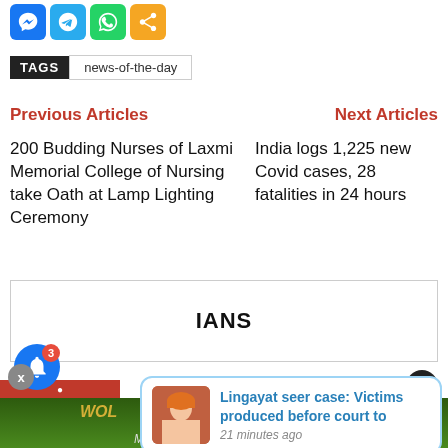[Figure (screenshot): Social media share buttons: Messenger (blue), Telegram (blue), WhatsApp (green), Share (orange)]
TAGS  news-of-the-day
Previous Articles
Next Articles
200 Budding Nurses of Laxmi Memorial College of Nursing take Oath at Lamp Lighting Ceremony
India logs 1,225 new Covid cases, 28 fatalities in 24 hours
[Figure (screenshot): IANS branded advertisement box with border]
[Figure (screenshot): Close button X (dark circle, top right)]
[Figure (screenshot): Notification popup: Lingayat seer case: Victims produced before court to — 21 minutes ago, with thumbnail of seer in orange turban]
[Figure (screenshot): Blue bell notification button with red badge showing 3, and X close button]
[Figure (screenshot): Bottom banner ad strip with green background and Mangalorean News branding]